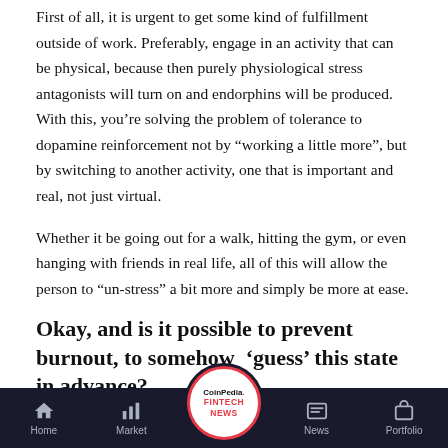First of all, it is urgent to get some kind of fulfillment outside of work. Preferably, engage in an activity that can be physical, because then purely physiological stress antagonists will turn on and endorphins will be produced. With this, you're solving the problem of tolerance to dopamine reinforcement not by "working a little more", but by switching to another activity, one that is important and real, not just virtual.
Whether it be going out for a walk, hitting the gym, or even hanging with friends in real life, all of this will allow the person to "un-stress" a bit more and simply be more at ease.
Okay, and is it possible to prevent burnout, to somehow 'guess' this state in advance?
Well, you see, since IT spe... as a rule, like their work and
Home | Market | CoinPedia FINTECH NEWS | News | Portfolio